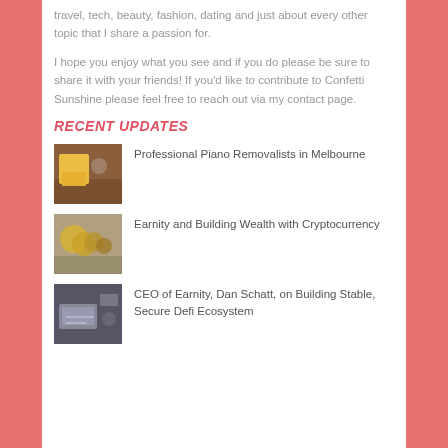travel, tech, beauty, fashion, dating and just about every other topic that I share a passion for.
I hope you enjoy what you see and if you do please be sure to share it with your friends! If you'd like to contribute to Confetti Sunshine please feel free to reach out via my contact page.
RECENT UPDATES
Professional Piano Removalists in Melbourne
Earnity and Building Wealth with Cryptocurrency
CEO of Earnity, Dan Schatt, on Building Stable, Secure Defi Ecosystem